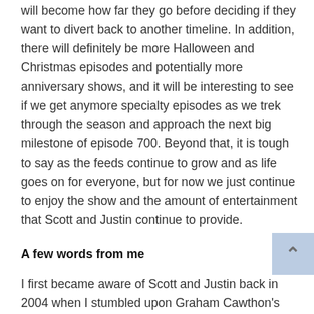will become how far they go before deciding if they want to divert back to another timeline. In addition, there will definitely be more Halloween and Christmas episodes and potentially more anniversary shows, and it will be interesting to see if we get anymore specialty episodes as we trek through the season and approach the next big milestone of episode 700. Beyond that, it is tough to say as the feeds continue to grow and as life goes on for everyone, but for now we just continue to enjoy the show and the amount of entertainment that Scott and Justin continue to provide.
A few words from me
I first became aware of Scott and Justin back in 2004 when I stumbled upon Graham Cawthon's History of WWE website and found their reviews along with a few others that were posting reviews at that time. I had been a wrestling fan since 1993 and didn't have many friends that